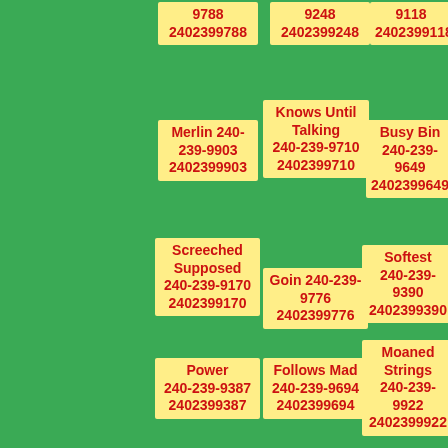9788 2402399788
9248 2402399248
9118 2402399118
Merlin 240-239-9903 2402399903
Knows Until Talking 240-239-9710 2402399710
Busy Bin 240-239-9649 2402399649
Screeched Supposed 240-239-9170 2402399170
Goin 240-239-9776 2402399776
Softest 240-239-9390 2402399390
Power 240-239-9387 2402399387
Follows Mad 240-239-9694 2402399694
Moaned Strings 240-239-9922 2402399922